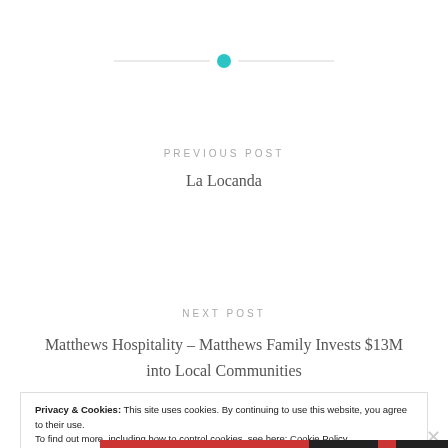[Figure (other): Horizontal decorative divider with a teal/cyan circle in the center and thin gray lines extending to either side]
PREVIOUS POST
La Locanda
NEXT POST
Matthews Hospitality – Matthews Family Invests $13M into Local Communities
Privacy & Cookies: This site uses cookies. By continuing to use this website, you agree to their use.
To find out more, including how to control cookies, see here: Cookie Policy
Close and accept